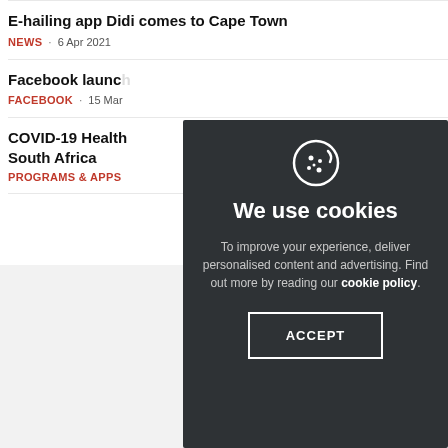E-hailing app Didi comes to Cape Town
NEWS · 6 Apr 2021
Facebook launch...
FACEBOOK · 15 Mar...
COVID-19 Health... South Africa
PROGRAMS & APPS...
[Figure (other): Cookie consent overlay popup with cookie icon, heading 'We use cookies', descriptive text about personalised content and advertising with cookie policy link, and an ACCEPT button]
We use cookies
To improve your experience, deliver personalised content and advertising. Find out more by reading our cookie policy.
ACCEPT